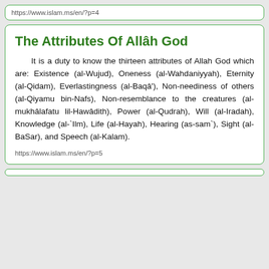https://www.islam.ms/en/?p=4
The Attributes Of Allâh God
It is a duty to know the thirteen attributes of Allah God which are: Existence (al-Wujud), Oneness (al-Wahdaniyyah), Eternity (al-Qidam), Everlastingness (al-Baqâ'), Non-neediness of others (al-Qiyamu bin-Nafs), Non-resemblance to the creatures (al-mukhâlafatu lil-Hawâdith), Power (al-Qudrah), Will (al-Iradah), Knowledge (al-`Ilm), Life (al-Hayah), Hearing (as-sam`), Sight (al-BaSar), and Speech (al-Kalam).
https://www.islam.ms/en/?p=5